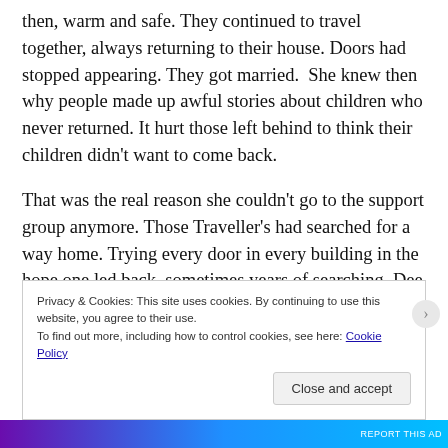then, warm and safe. They continued to travel together, always returning to their house. Doors had stopped appearing. They got married.  She knew then why people made up awful stories about children who never returned. It hurt those left behind to think their children didn't want to come back.
That was the real reason she couldn't go to the support group anymore. Those Traveller's had searched for a way home. Trying every door in every building in the hope one led back, sometimes years of searching. Dee had been happy in both worlds but deep inside her she had made the decision to stay. Marl had been her reason. He touched her as if she was actually alive. True she was only a child with her parents and f ... w ...
Privacy & Cookies: This site uses cookies. By continuing to use this website, you agree to their use.
To find out more, including how to control cookies, see here: Cookie Policy
Close and accept